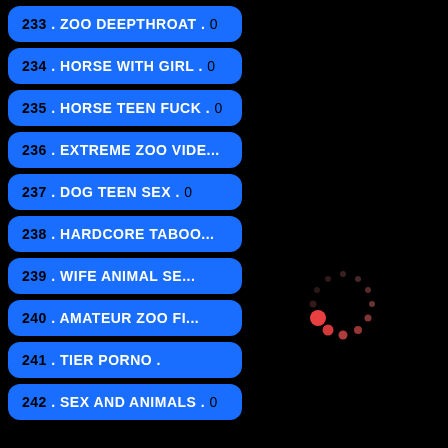233 . ZOO DEEPTHROAT . 0
234 . HORSE WITH GIRL . 0
235 . HORSE TEEN FUCK . 0
236 . EXTREME ZOO VIDE...
237 . DOG TEEN SEX . 0
238 . HARDCORE TABOO...
239 . WIFE ANIMAL SE...
240 . AMATEUR ZOO FI...
241 . TIER PORNO .
242 . SEX AND ANIMALS . 0
[Figure (other): Circular loading spinner made of red/salmon colored dots arranged in a ring on black background]